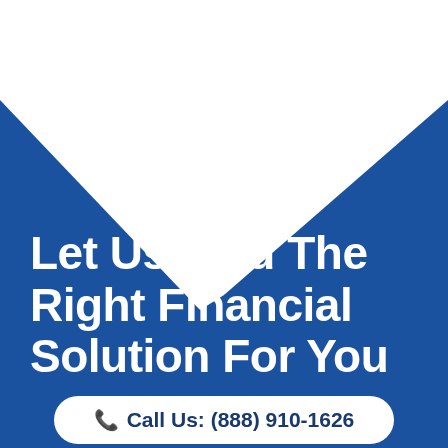[Figure (illustration): Blue geometric background shape resembling an open book or folder, with a white V-shaped cutout at the top center against a white background]
Let Us Find The Right Financial Solution For You
Call Us: (888) 910-1626